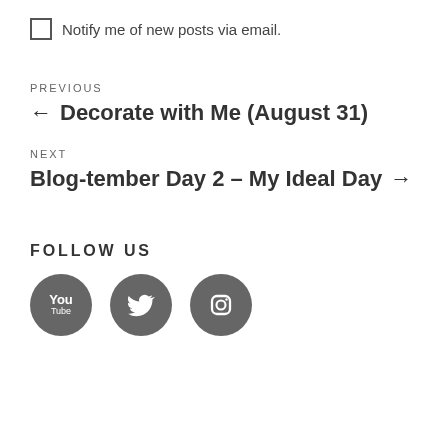Notify me of new posts via email.
PREVIOUS
← Decorate with Me (August 31)
NEXT
Blog-tember Day 2 – My Ideal Day →
FOLLOW US
[Figure (other): Three social media icon circles: YouTube, Twitter, and Instagram, in dark grey.]